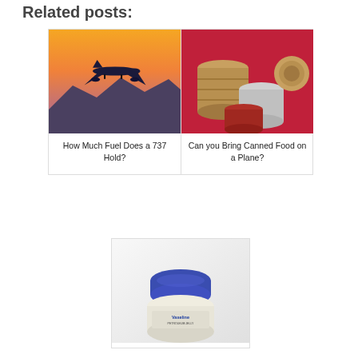Related posts:
[Figure (photo): Airplane landing against an orange/red sunset sky with mountains in silhouette]
How Much Fuel Does a 737 Hold?
[Figure (photo): Various metal food cans stacked on a red background]
Can you Bring Canned Food on a Plane?
[Figure (photo): A round blue-capped Vaseline petroleum jelly container on a white/gray background]